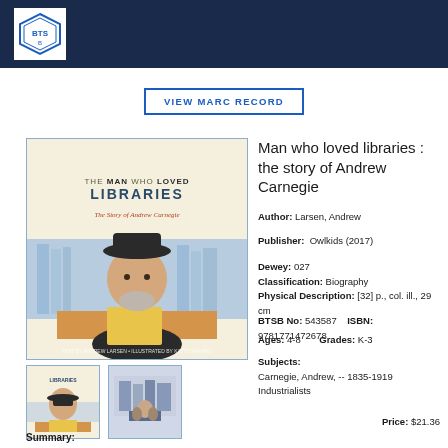VIEW MARC RECORD
[Figure (illustration): Book cover: The Man Who Loved Libraries – The Story of Andrew Carnegie, showing an illustrated portrait of a man in a bowler hat reading a book]
Man who loved libraries : the story of Andrew Carnegie
Author: Larsen, Andrew
Publisher: Owlkids (2017)
Dewey: 027
Classification: Biography
Physical Description: [32] p., col. ill., 29 cm
BTSB No: 543587   ISBN: 9781771472678
Ages: 4-8   Grades: K-3
Subjects:
Carnegie, Andrew, -- 1835-1919
Industrialists
Price: $21.36
Summary: